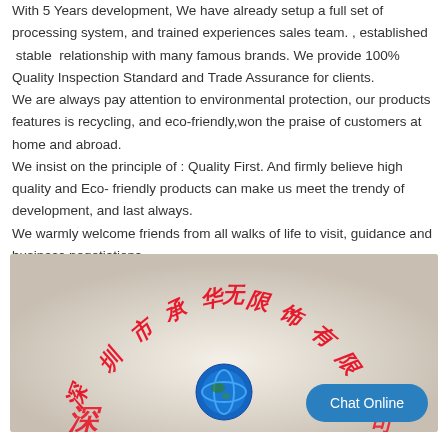With 5 Years development, We have already setup a full set of processing system, and trained experiences sales team. , established stable relationship with many famous brands. We provide 100% Quality Inspection Standard and Trade Assurance for clients.
We are always pay attention to environmental protection, our products features is recycling, and eco-friendly,won the praise of customers at home and abroad.
We insist on the principle of : Quality First. And firmly believe high quality and Eco-friendly products can make us meet the trendy of development, and last always.
We warmly welcome friends from all walks of life to visit, guidance and business negotiations.
[Figure (logo): Company logo image with Chinese characters arranged in an arch (深圳市承华无限饰有限公司 style text in red), a blue globe icon in the center bottom, and a 'Chat Online' button in the bottom right.]